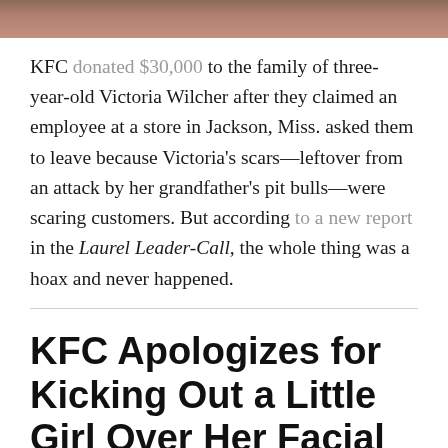[Figure (photo): Partial photo strip at top of page, showing blurred warm-toned image (appears to be a person)]
KFC donated $30,000 to the family of three-year-old Victoria Wilcher after they claimed an employee at a store in Jackson, Miss. asked them to leave because Victoria's scars—leftover from an attack by her grandfather's pit bulls—were scaring customers. But according to a new report in the Laurel Leader-Call, the whole thing was a hoax and never happened.
KFC Apologizes for Kicking Out a Little Girl Over Her Facial Injuries